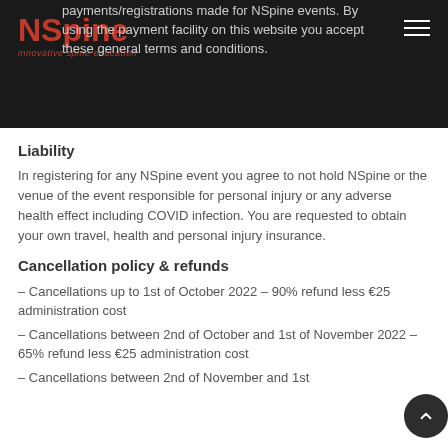payments/registrations made for NSpine events. By using the payment facility on this website you accept these general terms and conditions.
Liability
In registering for any NSpine event you agree to not hold NSpine or the venue of the event responsible for personal injury or any adverse health effect including COVID infection. You are requested to obtain your own travel, health and personal injury insurance.
Cancellation policy & refunds
– Cancellations up to 1st of October 2022 – 90% refund less €25 administration cost
– Cancellations between 2nd of October and 1st of November 2022 – 65% refund less €25 administration cost
– Cancellations between 2nd of November and 1st